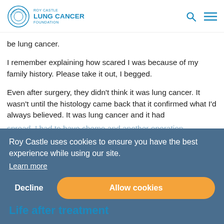Roy Castle Lung Cancer Foundation
be lung cancer.
I remember explaining how scared I was because of my family history. Please take it out, I begged.
Even after surgery, they didn't think it was lung cancer. It wasn't until the histology came back that it confirmed what I'd always believed. It was lung cancer and it had spread. I had to have chemo and another operation. That was two years ago and I'm currently no evidence of
Roy Castle uses cookies to ensure you have the best experience while using our site.
Learn more
Decline
Allow cookies
Life after treatment